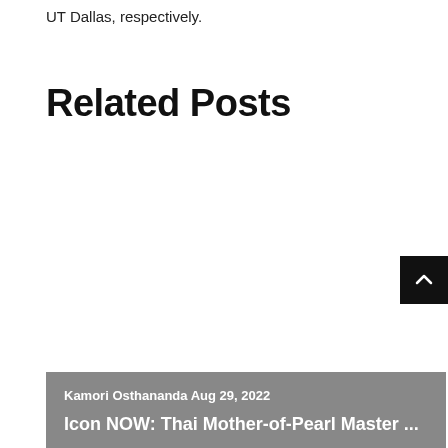UT Dallas, respectively.
Related Posts
Kamori Osthananda Aug 29, 2022
Icon NOW: Thai Mother-of-Pearl Master ...